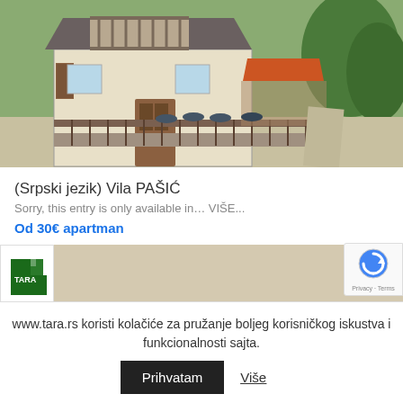[Figure (photo): Exterior photo of Vila PAŠIĆ showing a house with balcony, wooden deck with chairs, orange-roofed gazebo, and trees in background]
(Srpski jezik) Vila PAŠIĆ
Sorry, this entry is only available in… VIŠE...
Od 30€ apartman
[Figure (photo): Partial view of second listing with Tara logo visible in top-left corner]
www.tara.rs koristi kolačiće za pružanje boljeg korisničkog iskustva i funkcionalnosti sajta.